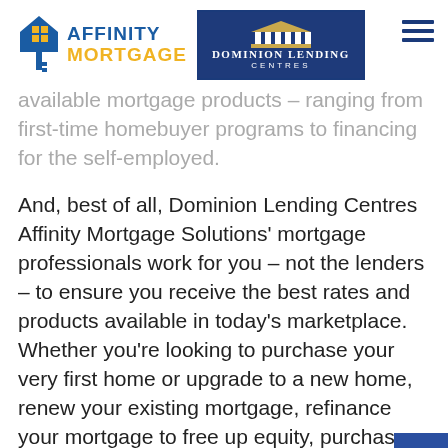[Figure (logo): Affinity Mortgage logo with blue key icon and blue/yellow text]
[Figure (logo): Dominion Lending Centres logo with white pillars on dark blue background]
available mortgage products – ranging from first-time homebuyer programs to financing for the self-employed.
And, best of all, Dominion Lending Centres Affinity Mortgage Solutions' mortgage professionals work for you – not the lenders – to ensure you receive the best rates and products available in today's marketplace. Whether you're looking to purchase your very first home or upgrade to a new home, renew your existing mortgage, refinance your mortgage to free up equity, purchase investment properties or vacation